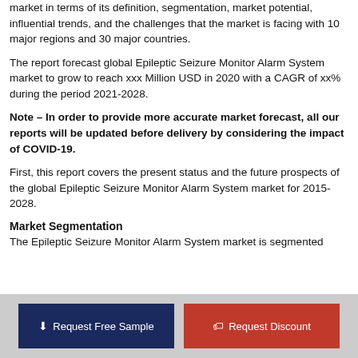market in terms of its definition, segmentation, market potential, influential trends, and the challenges that the market is facing with 10 major regions and 30 major countries.
The report forecast global Epileptic Seizure Monitor Alarm System market to grow to reach xxx Million USD in 2020 with a CAGR of xx% during the period 2021-2028.
Note – In order to provide more accurate market forecast, all our reports will be updated before delivery by considering the impact of COVID-19.
First, this report covers the present status and the future prospects of the global Epileptic Seizure Monitor Alarm System market for 2015-2028.
Market Segmentation
The Epileptic Seizure Monitor Alarm System market is segmented